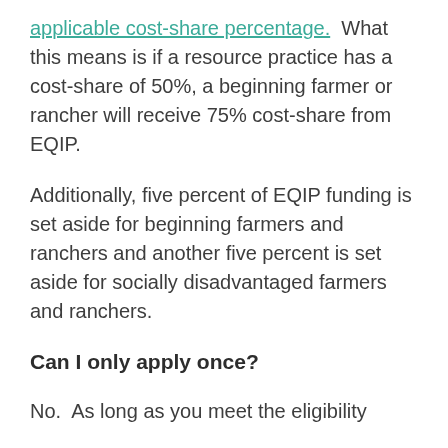applicable cost-share percentage.  What this means is if a resource practice has a cost-share of 50%, a beginning farmer or rancher will receive 75% cost-share from EQIP.
Additionally, five percent of EQIP funding is set aside for beginning farmers and ranchers and another five percent is set aside for socially disadvantaged farmers and ranchers.
Can I only apply once?
No.  As long as you meet the eligibility